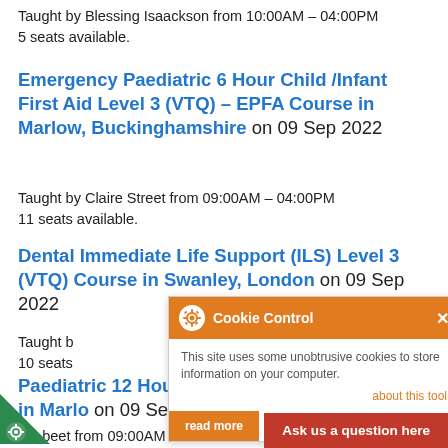Taught by Blessing Isaackson from 10:00AM – 04:00PM
5 seats available.
Emergency Paediatric 6 Hour Child /Infant First Aid Level 3 (VTQ) – EPFA Course in Marlow, Buckinghamshire on 09 Sep 2022
Taught by Claire Street from 09:00AM – 04:00PM
11 seats available.
Dental Immediate Life Support (ILS) Level 3 (VTQ) Course in Swanley, London on 09 Sep 2022
Taught by [obscured] from 10:...
10 seats available.
Paedi[atric] 12 Hour Infant / Child [First Aid Level 3 (VTQ)] – PFA Course in Marlo[w] on 09 Sep 2022
[Tau]ght b[y Claire Str]eet from 09:00AM ...
[Figure (screenshot): Cookie Control popup overlay with orange header, gear icon, close button, body text 'This site uses some unobtrusive cookies to store information on your computer.', 'about this tool' link, and 'read more' button.]
[Figure (screenshot): Red 'Ask us a question here' button in bottom right corner.]